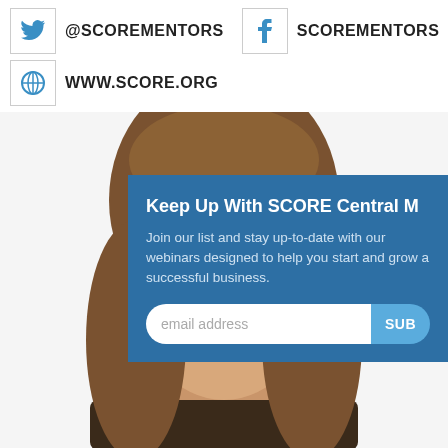@SCOREMENTORS
SCOREMENTORS
WWW.SCORE.ORG
[Figure (photo): Portrait photo of a young woman with long brown hair, cropped to show face and upper body against white background]
Keep Up With SCORE Central M
Join our list and stay up-to-date with our webinars designed to help you start and grow a successful business.
email address  SUB